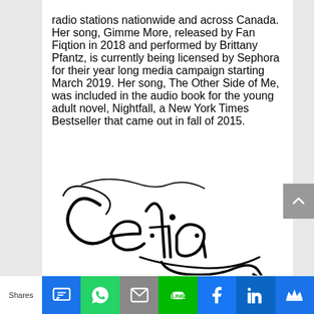radio stations nationwide and across Canada. Her song, Gimme More, released by Fan Fiqtion in 2018 and performed by Brittany Pfantz, is currently being licensed by Sephora for their year long media campaign starting March 2019. Her song, The Other Side of Me, was included in the audio book for the young adult novel, Nightfall, a New York Times Bestseller that came out in fall of 2015.
[Figure (illustration): Cursive/calligraphic signature logo reading 'Cefia' with decorative flourishes in black ink on white background]
Shares | SMS | WhatsApp | Email | LINE | Facebook | LinkedIn | More